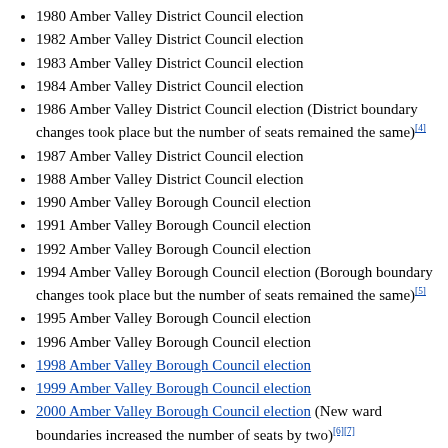1980 Amber Valley District Council election
1982 Amber Valley District Council election
1983 Amber Valley District Council election
1984 Amber Valley District Council election
1986 Amber Valley District Council election (District boundary changes took place but the number of seats remained the same)[4]
1987 Amber Valley District Council election
1988 Amber Valley District Council election
1990 Amber Valley Borough Council election
1991 Amber Valley Borough Council election
1992 Amber Valley Borough Council election
1994 Amber Valley Borough Council election (Borough boundary changes took place but the number of seats remained the same)[5]
1995 Amber Valley Borough Council election
1996 Amber Valley Borough Council election
1998 Amber Valley Borough Council election
1999 Amber Valley Borough Council election
2000 Amber Valley Borough Council election (New ward boundaries increased the number of seats by two)[6][7]
2002 Amber Valley Borough Council election
2003 Amber Valley Borough Council election
2004 Amber Valley Borough Council election
2006 Amber Valley Borough Council election